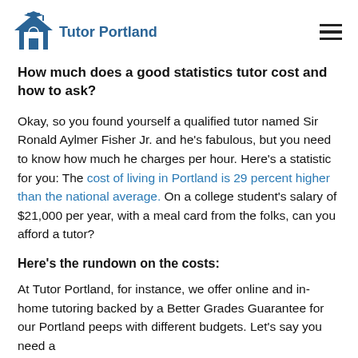Tutor Portland
How much does a good statistics tutor cost and how to ask?
Okay, so you found yourself a qualified tutor named Sir Ronald Aylmer Fisher Jr. and he's fabulous, but you need to know how much he charges per hour. Here's a statistic for you: The cost of living in Portland is 29 percent higher than the national average. On a college student's salary of $21,000 per year, with a meal card from the folks, can you afford a tutor?
Here's the rundown on the costs:
At Tutor Portland, for instance, we offer online and in-home tutoring backed by a Better Grades Guarantee for our Portland peeps with different budgets. Let's say you need a